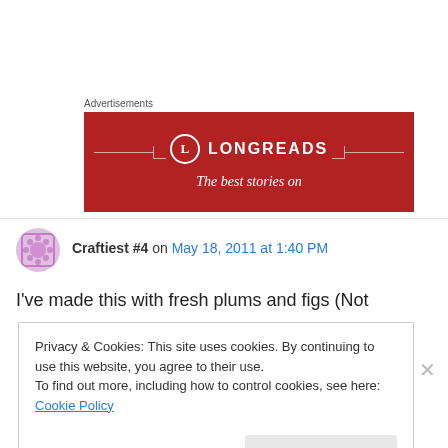Advertisements
[Figure (screenshot): Longreads advertisement banner with red background showing the Longreads logo (circle with L) and tagline 'The best stories on']
Craftiest #4 on May 18, 2011 at 1:40 PM
I've made this with fresh plums and figs (Not
Privacy & Cookies: This site uses cookies. By continuing to use this website, you agree to their use.
To find out more, including how to control cookies, see here: Cookie Policy
Close and accept